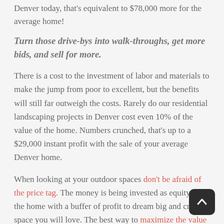Denver today, that's equivalent to $78,000 more for the average home!
Turn those drive-bys into walk-throughs, get more bids, and sell for more.
There is a cost to the investment of labor and materials to make the jump from poor to excellent, but the benefits will still far outweigh the costs. Rarely do our residential landscaping projects in Denver cost even 10% of the value of the home. Numbers crunched, that's up to a $29,000 instant profit with the sale of your average Denver home.
When looking at your outdoor spaces don't be afraid of the price tag. The money is being invested as equity into the home with a buffer of profit to dream big and create a space you will love. The best way to maximize the value of landscape designing is to plan ahead. Moving